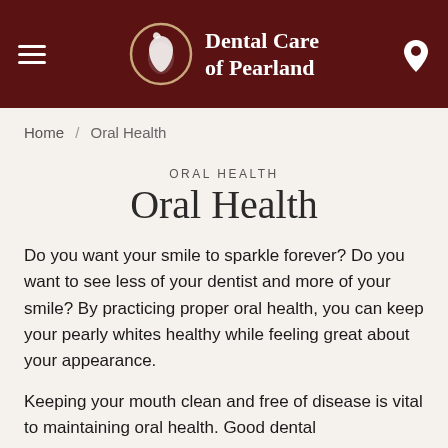[Figure (logo): Dental Care of Pearland header logo with hamburger menu and location pin icon on dark red background]
Home / Oral Health
ORAL HEALTH
Oral Health
Do you want your smile to sparkle forever? Do you want to see less of your dentist and more of your smile? By practicing proper oral health, you can keep your pearly whites healthy while feeling great about your appearance.
Keeping your mouth clean and free of disease is vital to maintaining oral health. Good dental